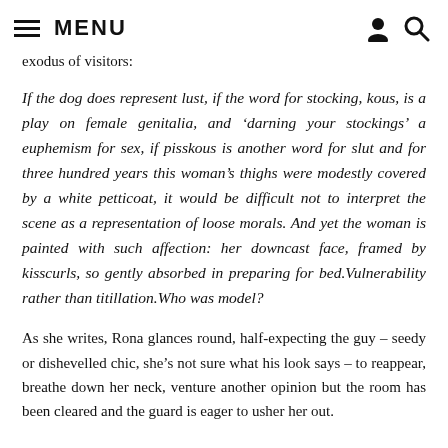MENU
exodus of visitors:
If the dog does represent lust, if the word for stocking, kous, is a play on female genitalia, and ‘darning your stockings’ a euphemism for sex, if pisskous is another word for slut and for three hundred years this woman’s thighs were modestly covered by a white petticoat, it would be difficult not to interpret the scene as a representation of loose morals. And yet the woman is painted with such affection: her downcast face, framed by kisscurls, so gently absorbed in preparing for bed. Vulnerability rather than titillation. Who was model?
As she writes, Rona glances round, half-expecting the guy – seedy or dishevelled chic, she’s not sure what his look says – to reappear, breathe down her neck, venture another opinion but the room has been cleared and the guard is eager to usher her out.